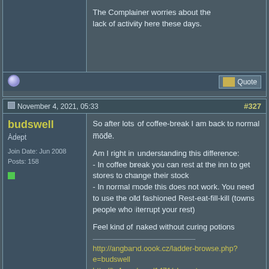The Complainer worries about the lack of activity here these days.
November 4, 2021, 05:33 #327
budswell
Adept
Join Date: Jun 2008
Posts: 158
So after lots of coffee-break I am back to normal mode.

Am I right in understanding this difference:
- In coffee break you can rest at the inn to get stores to change their stock
- In normal mode this does not work. You need to use the old fashioned Rest-eat-fill-kill (towns people who iterrupt your rest)

Feel kind of naked without curing potions
http://angband.oook.cz/ladder-browse.php?e=budswell
http://te4.org/user/1471/characters
November 4, 2021, 11:06 #328